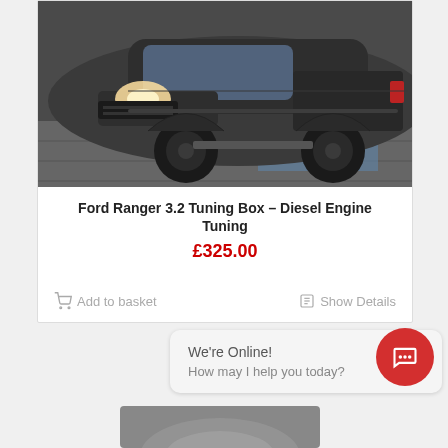[Figure (photo): A dark grey Ford Ranger pickup truck on a dynamometer/rolling road in a workshop setting]
Ford Ranger 3.2 Tuning Box – Diesel Engine Tuning
£325.00
Add to basket
Show Details
We're Online!
How may I help you today?